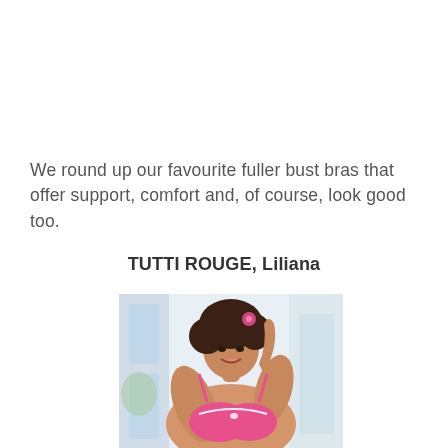We round up our favourite fuller bust bras that offer support, comfort and, of course, look good too.
TUTTI ROUGE, Liliana
[Figure (photo): A woman with curly hair wearing a pink bra, smiling with her hand raised behind her head, photographed in a bright room.]